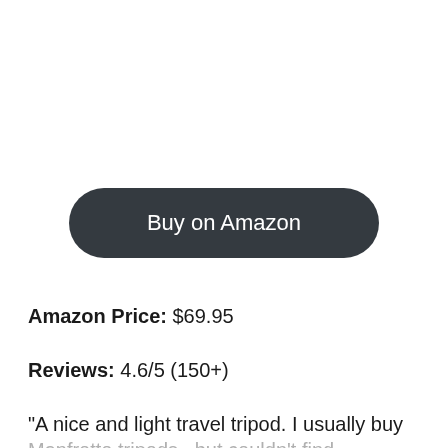[Figure (other): Dark rounded pill-shaped button with white text reading 'Buy on Amazon']
Amazon Price: $69.95
Reviews: 4.6/5 (150+)
“A nice and light travel tripod. I usually buy Manfrotto tripods...but couldn’t find